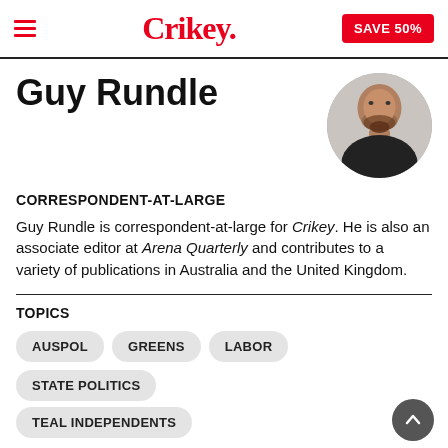Crikey. SAVE 50%
Guy Rundle
[Figure (photo): Circular headshot photo of Guy Rundle, a bald man with a beard, wearing a dark shirt]
CORRESPONDENT-AT-LARGE
Guy Rundle is correspondent-at-large for Crikey. He is also an associate editor at Arena Quarterly and contributes to a variety of publications in Australia and the United Kingdom.
TOPICS
AUSPOL
GREENS
LABOR
STATE POLITICS
TEAL INDEPENDENTS